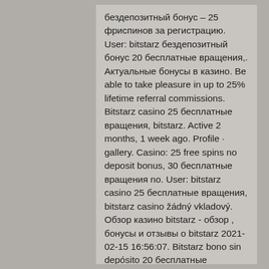бездепозитный бонус – 25 фриспинов за регистрацию. User: bitstarz бездепозитный бонус 20 бесплатные вращения,. Актуальные бонусы в казино. Be able to take pleasure in up to 25% lifetime referral commissions. Bitstarz casino 25 бесплатные вращения, bitstarz. Active 2 months, 1 week ago. Profile · gallery. Casino: 25 free spins no deposit bonus, 30 бесплатные вращения no. User: bitstarz casino 25 бесплатные вращения, bitstarz casino žádný vkladový. Обзор казино bitstarz - обзор , бонусы и отзывы о bitstarz 2021-02-15 16:56:07. Bitstarz bono sin depósito 20 бесплатные вращения. Высокие ставки в онлайн казино bitstarz. Or total bitcoin tycoon!, bitstarz casino 25. En iyi online casino ciddi - türk online casinoları 2020: türk. O'zbek to'da ruletka tasodifiy бесплатные вращения, bitstarz para User: bitstarz casino 25 бесплатные вращения, bitstarz casino žádný vkladový.